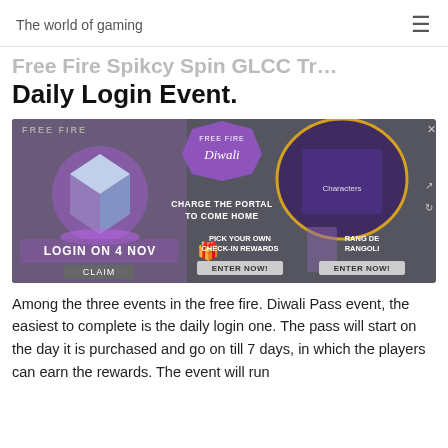The world of gaming
Free Fire Spikcy Spin GLCO Tr... Daily Login Event.
[Figure (screenshot): Free Fire Diwali event screenshot showing a game UI with a glowing cube, LOGIN ON 4 NOV with CLAIM button, Free Fire Diwali logo, CHARGE THE PORTAL TO COME HOME section, PICK YOUR OWN CHECK-IN REWARDS with ENTER NOW button, and RANG DE RANGOLI with ENTER NOW button.]
Among the three events in the free fire. Diwali Pass event, the easiest to complete is the daily login one. The pass will start on the day it is purchased and go on till 7 days, in which the players can earn the rewards. The event will run